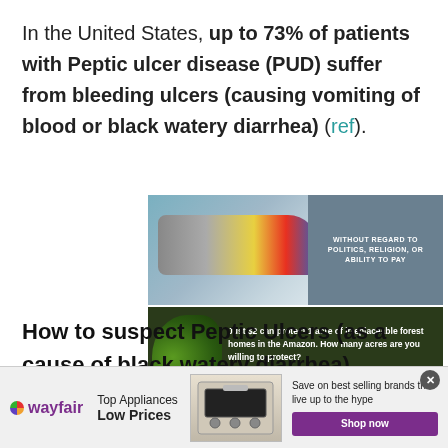In the United States, up to 73% of patients with Peptic ulcer disease (PUD) suffer from bleeding ulcers (causing vomiting of blood or black watery diarrhea) (ref).
[Figure (photo): Advertisement banner showing an airplane being loaded with cargo (Southwest Airlines), and a rainforest conservation ad reading 'Just $2 can protect 1 acre of irreplaceable forest homes in the Amazon. How many acres are you willing to protect? PROTECT FORESTS NOW']
How to suspect Peptic Ulcers (as a cause of black watery diarrhea).
[Figure (photo): Wayfair advertisement banner: 'Top Appliances Low Prices — Save on best selling brands that live up to the hype. Shop now']